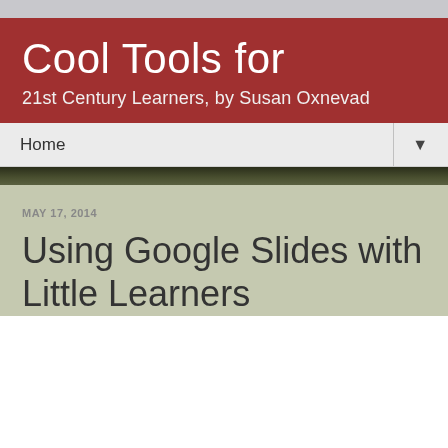Cool Tools for
21st Century Learners, by Susan Oxnevad
Home
MAY 17, 2014
Using Google Slides with Little Learners